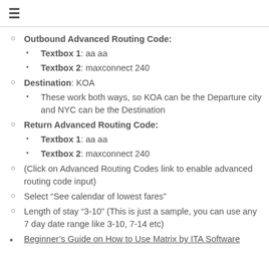Outbound Advanced Routing Code:
Textbox 1: aa aa
Textbox 2: maxconnect 240
Destination: KOA
These work both ways, so KOA can be the Departure city and NYC can be the Destination
Return Advanced Routing Code:
Textbox 1: aa aa
Textbox 2: maxconnect 240
(Click on Advanced Routing Codes link to enable advanced routing code input)
Select “See calendar of lowest fares”
Length of stay “3-10” (This is just a sample, you can use any 7 day date range like 3-10, 7-14 etc)
Beginner’s Guide on How to Use Matrix by ITA Software